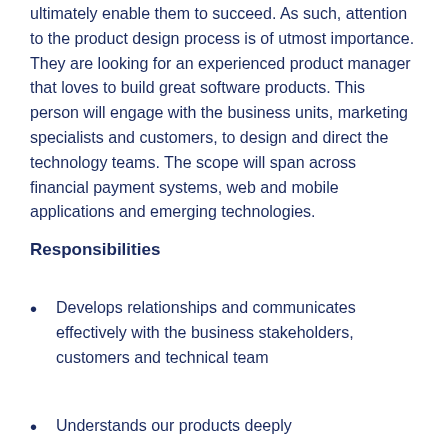ultimately enable them to succeed. As such, attention to the product design process is of utmost importance. They are looking for an experienced product manager that loves to build great software products. This person will engage with the business units, marketing specialists and customers, to design and direct the technology teams. The scope will span across financial payment systems, web and mobile applications and emerging technologies.
Responsibilities
Develops relationships and communicates effectively with the business stakeholders, customers and technical team
Understands our products deeply